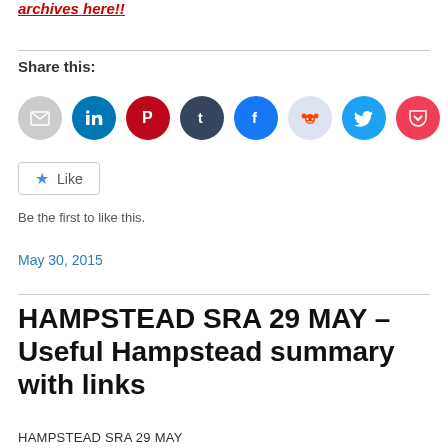archives here!!
Share this:
[Figure (infographic): Row of social sharing icon buttons: email (grey), LinkedIn (blue), Pinterest (red), Tumblr (dark blue), Facebook (blue), Reddit (light grey/blue), Twitter (cyan), Pocket (red), Print (grey), WhatsApp (green)]
Like
Be the first to like this.
May 30, 2015
HAMPSTEAD SRA 29 MAY – Useful Hampstead summary with links
HAMPSTEAD SRA 29 MAY